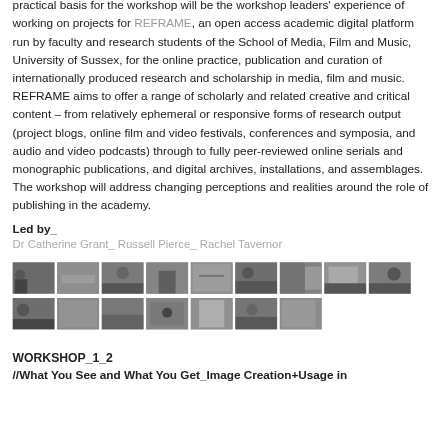practical basis for the workshop will be the workshop leaders' experience of working on projects for REFRAME, an open access academic digital platform run by faculty and research students of the School of Media, Film and Music, University of Sussex, for the online practice, publication and curation of internationally produced research and scholarship in media, film and music. REFRAME aims to offer a range of scholarly and related creative and critical content – from relatively ephemeral or responsive forms of research output (project blogs, online film and video festivals, conferences and symposia, and audio and video podcasts) through to fully peer-reviewed online serials and monographic publications, and digital archives, installations, and assemblages. The workshop will address changing perceptions and realities around the role of publishing in the academy.
Led by_
Dr Catherine Grant_ Russell Pierce_ Rachel Tavernor
[Figure (photo): Grid of workshop photos showing attendees in a conference/workshop setting, two rows of small thumbnail images]
WORKSHOP_1_2
//What You See and What You Get_Image Creation+Usage in